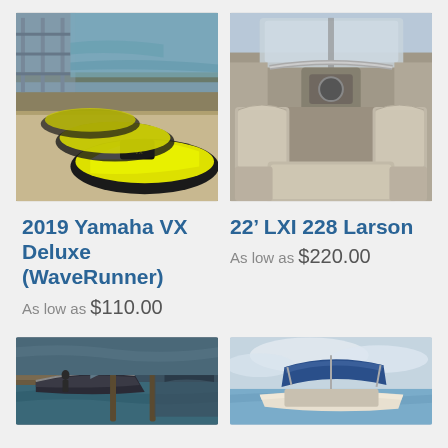[Figure (photo): Yellow and black Yamaha WaveRunner jet skis lined up on a dock near water]
[Figure (photo): Interior view of a Larson LXI 228 boat showing beige upholstered seats from above]
2019 Yamaha VX Deluxe (WaveRunner)
As low as $110.00
22' LXI 228 Larson
As low as $220.00
[Figure (photo): Dark colored boat viewed from stern at a marina dock]
[Figure (photo): Boat with blue bimini top on open water with cloudy sky]